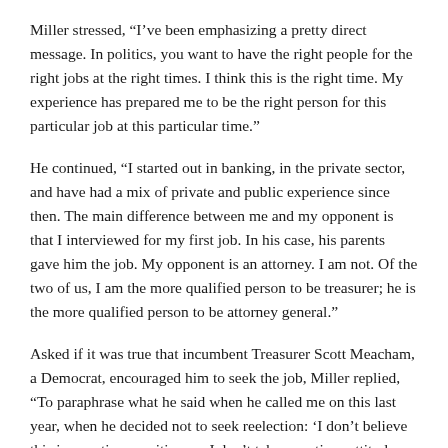Miller stressed, “I’ve been emphasizing a pretty direct message. In politics, you want to have the right people for the right jobs at the right times. I think this is the right time. My experience has prepared me to be the right person for this particular job at this particular time.”
He continued, “I started out in banking, in the private sector, and have had a mix of private and public experience since then. The main difference between me and my opponent is that I interviewed for my first job. In his case, his parents gave him the job. My opponent is an attorney. I am not. Of the two of us, I am the more qualified person to be treasurer; he is the more qualified person to be attorney general.”
Asked if it was true that incumbent Treasurer Scott Meacham, a Democrat, encouraged him to seek the job, Miller replied, “To paraphrase what he said when he called me on this last year, when he decided not to seek reelection: ‘I don’t believe this is a partisan position, so I don’t take a partisan attitude toward who should be in the job.’ Scott told me, ‘If you hear a rumor that you are running, well, I started it. I’m not running for reelection. I encourage you to run.’
Miller remembers, “I told him it might seem odd for a Democrat to be encouraging a Republican to run. I asked him about that. He said, ‘I d...